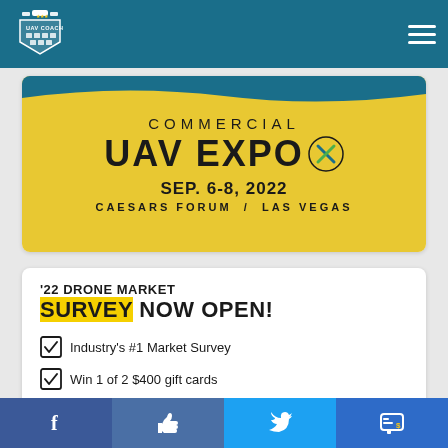UAV Coach
[Figure (illustration): Commercial UAV Expo advertisement banner. Yellow background with blue wave at top. Text: COMMERCIAL UAV EXPO, SEP. 6-8, 2022, CAESARS FORUM / LAS VEGAS]
'22 DRONE MARKET SURVEY NOW OPEN!
Industry's #1 Market Survey
Win 1 of 2 $400 gift cards
Facebook | Like | Twitter | Message